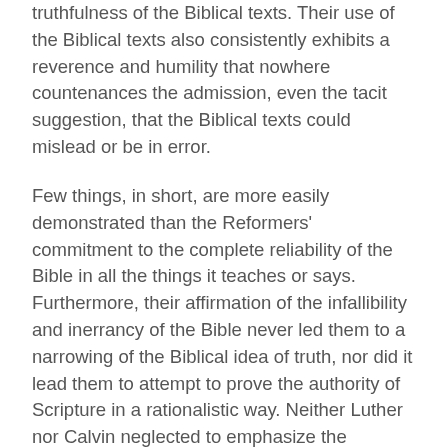truthfulness of the Biblical texts. Their use of the Biblical texts also consistently exhibits a reverence and humility that nowhere countenances the admission, even the tacit suggestion, that the Biblical texts could mislead or be in error.
Few things, in short, are more easily demonstrated than the Reformers' commitment to the complete reliability of the Bible in all the things it teaches or says. Furthermore, their affirmation of the infallibility and inerrancy of the Bible never led them to a narrowing of the Biblical idea of truth, nor did it lead them to attempt to prove the authority of Scripture in a rationalistic way. Neither Luther nor Calvin neglected to emphasize the Christocentric nature of Scriptural revelation. Both also recognized that our reception of the Word of God in Scripture depends wholly upon the Spirit's working through the Word to produce faith in